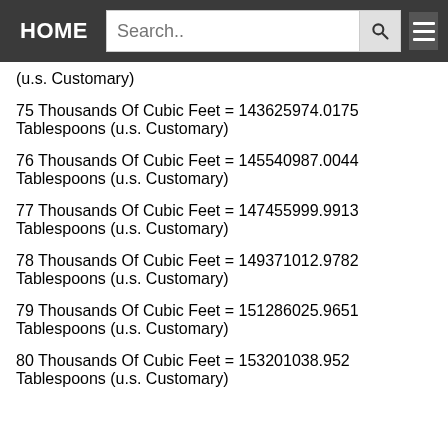HOME | Search..
(u.s. Customary)
75 Thousands Of Cubic Feet = 143625974.0175 Tablespoons (u.s. Customary)
76 Thousands Of Cubic Feet = 145540987.0044 Tablespoons (u.s. Customary)
77 Thousands Of Cubic Feet = 147455999.9913 Tablespoons (u.s. Customary)
78 Thousands Of Cubic Feet = 149371012.9782 Tablespoons (u.s. Customary)
79 Thousands Of Cubic Feet = 151286025.9651 Tablespoons (u.s. Customary)
80 Thousands Of Cubic Feet = 153201038.952 Tablespoons (u.s. Customary)